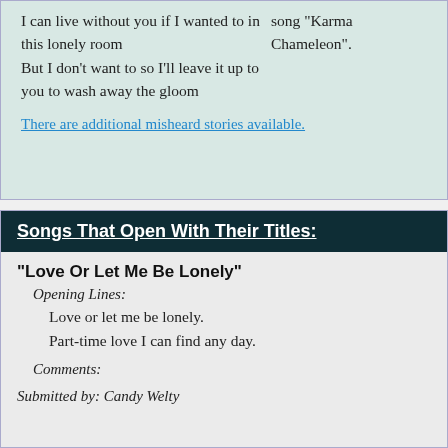I can live without you if I wanted to in this lonely room
But I don't want to so I'll leave it up to you to wash away the gloom
song "Karma Chameleon".
There are additional misheard stories available.
Songs That Open With Their Titles:
"Love Or Let Me Be Lonely"
Opening Lines:
Love or let me be lonely.
Part-time love I can find any day.
Comments:
Submitted by: Candy Welty